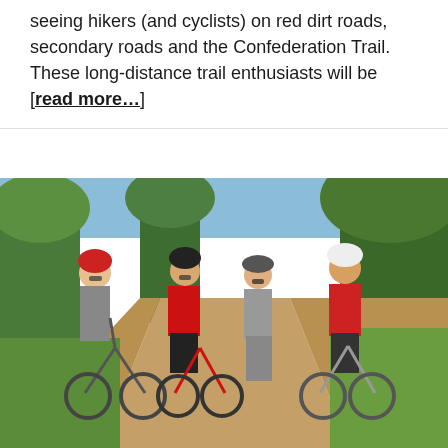seeing hikers (and cyclists) on red dirt roads, secondary roads and the Confederation Trail.  These long-distance trail enthusiasts will be [read more…]
[Figure (photo): Four cyclists posing on a red dirt trail path. Two people on bicycles wearing helmets (one in gray top with red helmet, one in red jersey), and two people standing (one in red and black cycling kit, one in gray top with cap). Trees and greenery visible in background.]